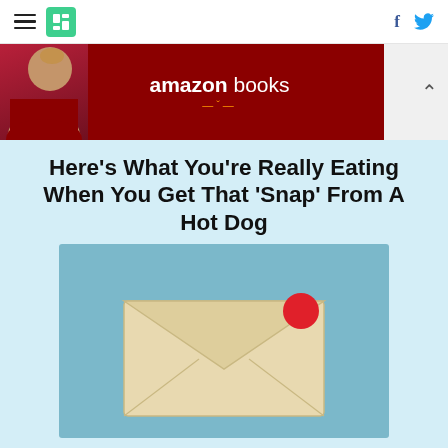HuffPost navigation with hamburger menu, logo, Facebook and Twitter icons
[Figure (photo): Amazon Books advertisement banner with a person on the left and Amazon Books logo text on a dark red background. A chevron/caret icon is on the right.]
Here’s What You’re Really Eating When You Get That ‘Snap’ From A Hot Dog
[Figure (illustration): An envelope/letter icon on a teal/blue background with a red notification dot in the upper right corner of the envelope.]
WORK/LIFE
The Secrets To A Super